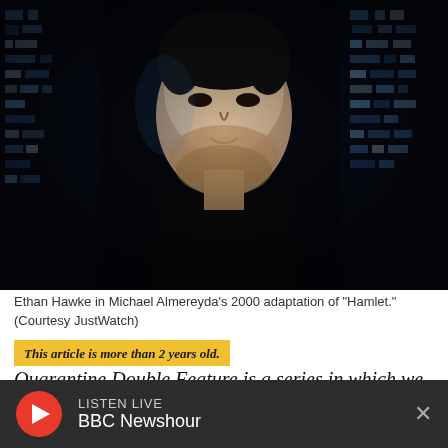[Figure (photo): Ethan Hawke in a dark scene with digital screen pixels in background, intense close-up portrait]
Ethan Hawke in Michael Almereyda's 2000 adaptation of "Hamlet." (Courtesy JustWatch)
This article is more than 2 years old.
Quarantine Double Feature is a series in which we pick two films available for streaming and
LISTEN LIVE
BBC Newshour